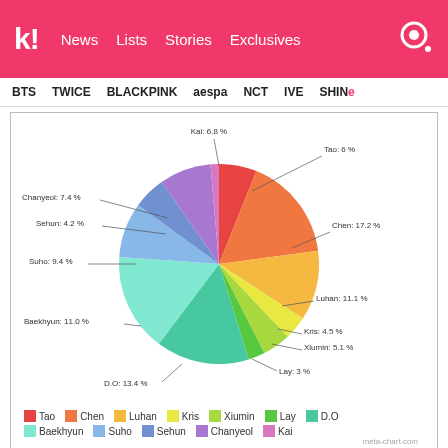Koreaboo | News  Lists  Stories  Exclusives
BTS  TWICE  BLACKPINK  aespa  NCT  IVE  SHINe
[Figure (pie-chart): EXO line distribution pie chart]
Difference between most & least lines: 14.2%
9. “Lotto” by EXO